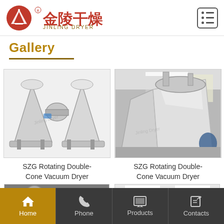Jinling Dryer - Header with logo and menu
Gallery
[Figure (photo): SZG Rotating Double-Cone Vacuum Dryer - product photo on white background showing a metallic double-cone shaped industrial dryer]
SZG Rotating Double-Cone Vacuum Dryer
[Figure (photo): SZG Rotating Double-Cone Vacuum Dryer - factory/workshop photo showing a large metallic double-cone vacuum dryer installed in an industrial setting]
SZG Rotating Double-Cone Vacuum Dryer
[Figure (photo): Partial view of industrial equipment - bottom left thumbnail]
[Figure (photo): Partial view of industrial facility interior - bottom right thumbnail]
Home | Phone | Products | Contacts